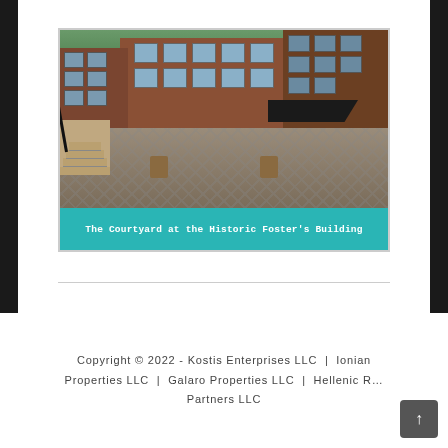[Figure (photo): Photo of The Courtyard at the Historic Foster's Building — a brick courtyard with paved herringbone floor, staircase with black railing on the left, potted planters, a black awning on the right, and a multi-story red brick building in the background. A teal/cyan caption bar at the bottom reads 'The Courtyard at the Historic Foster's Building'.]
Copyright © 2022 - Kostis Enterprises LLC | Ionian Properties LLC | Galaro Properties LLC | Hellenic R… Partners LLC